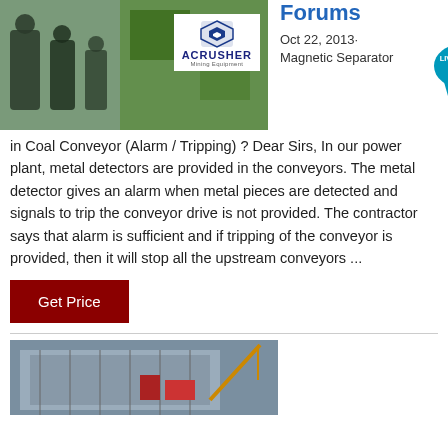[Figure (photo): Photo of people at a mining equipment exhibition with ACRUSHER Mining Equipment logo overlay on white background]
Forums
Oct 22, 2013·
Magnetic Separator
in Coal Conveyor (Alarm / Tripping) ? Dear Sirs, In our power plant, metal detectors are provided in the conveyors. The metal detector gives an alarm when metal pieces are detected and signals to trip the conveyor drive is not provided. The contractor says that alarm is sufficient and if tripping of the conveyor is provided, then it will stop all the upstream conveyors ...
[Figure (photo): Photo of industrial facility or construction site with crane/equipment visible]